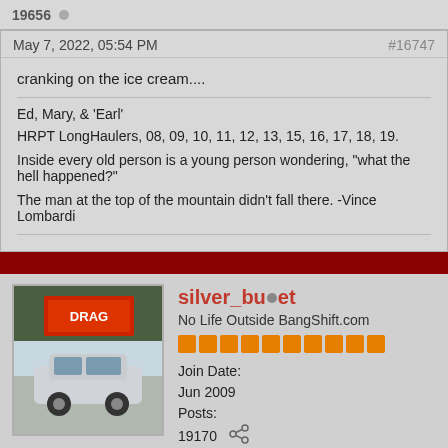19656
May 7, 2022, 05:54 PM
#16747
cranking on the ice cream....
Ed, Mary, & 'Earl'
HRPT LongHaulers, 08, 09, 10, 11, 12, 13, 15, 16, 17, 18, 19.

Inside every old person is a young person wondering, "what the hell happened?"

The man at the top of the mountain didn't fall there. -Vince Lombardi
silver_bullet
No Life Outside BangShift.com
Join Date: Jun 2009
Posts: 19170